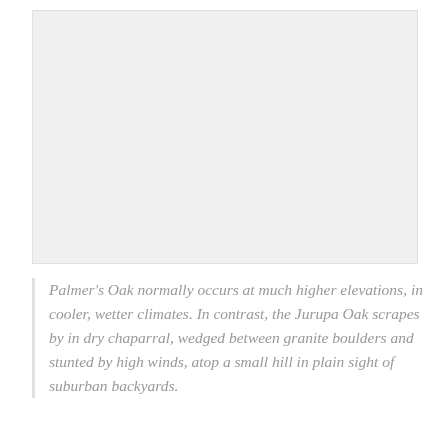[Figure (photo): A large light gray rectangular placeholder image area occupying the upper portion of the page.]
Palmer's Oak normally occurs at much higher elevations, in cooler, wetter climates. In contrast, the Jurupa Oak scrapes by in dry chaparral, wedged between granite boulders and stunted by high winds, atop a small hill in plain sight of suburban backyards.